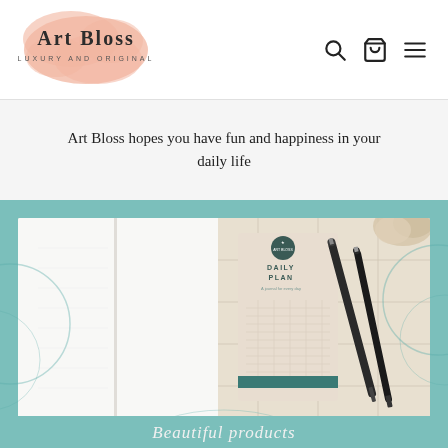[Figure (logo): Art Bloss logo with pink watercolor blob background, text 'ART BLOSS' and 'LUXURY AND ORIGINAL' below]
[Figure (infographic): Navigation icons: search (magnifying glass), shopping cart, and hamburger menu]
Art Bloss hopes you have fun and happiness in your daily life
[Figure (photo): Product photo on teal/mint background showing a Daily Plan notepad with grid lines, two pens, and a white notebook on a tile surface with decorative botanical pattern on the teal border]
Beautiful products